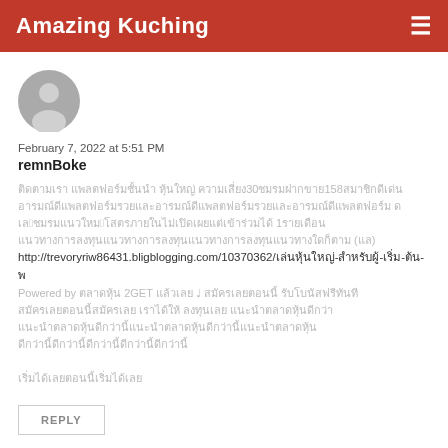Amazing Kuching
[Figure (illustration): Generic user avatar icon — grey circle with person silhouette]
February 7, 2022 at 5:51 PM
remnBoke
Comment body text in Thai/CJK characters with numbers 30, 158, 3, 1, 1, 29, (แล) and a URL: http://trevoryriw86431.bligblogging.com/10370362/... Powered by 2GET ...
REPLY